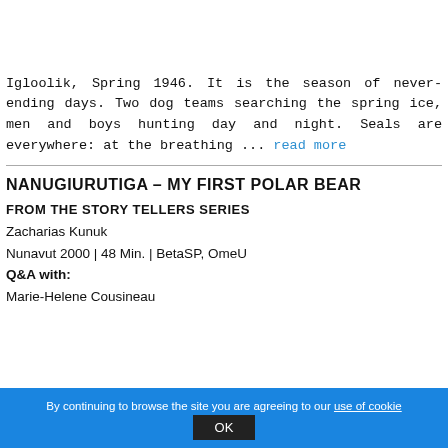Igloolik, Spring 1946. It is the season of never-ending days. Two dog teams searching the spring ice, men and boys hunting day and night. Seals are everywhere: at the breathing ... read more
NANUGIURUTIGA – MY FIRST POLAR BEAR
FROM THE STORY TELLERS SERIES
Zacharias Kunuk
Nunavut 2000 | 48 Min. | BetaSP, OmeU
Q&A with:
Marie-Helene Cousineau
By continuing to browse the site you are agreeing to our use of cookies